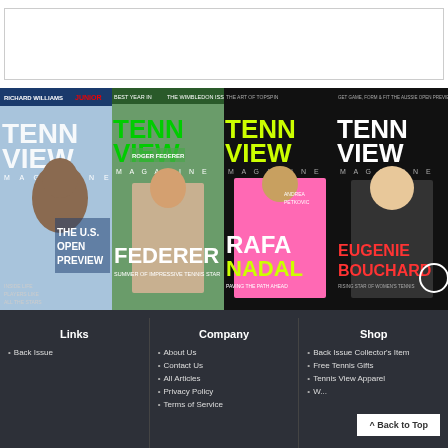[Figure (other): Advertisement placeholder white box with border]
[Figure (photo): Four Tennis View Magazine covers side by side: Serena Williams (US Open Preview), Roger Federer, Rafael Nadal, Eugenie Bouchard]
Links
Back Issue
Company
About Us
Contact Us
All Articles
Privacy Policy
Terms of Service
Shop
Back Issue Collector's Item
Free Tennis Gifts
Tennis View Apparel
W...
^ Back to Top